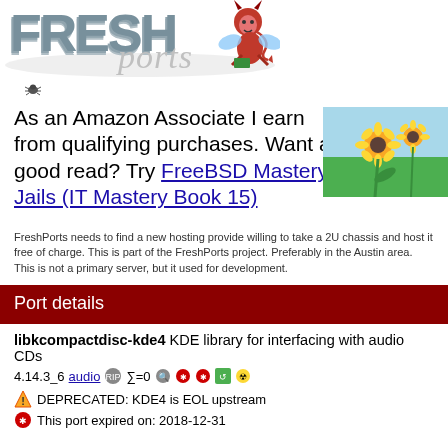[Figure (logo): FreshPorts logo with devil mascot]
[Figure (illustration): Small bug/insect icon]
As an Amazon Associate I earn from qualifying purchases. Want a good read? Try FreeBSD Mastery: Jails (IT Mastery Book 15)
[Figure (photo): Photo of sunflowers in a field]
FreshPorts needs to find a new hosting provide willing to take a 2U chassis and host it free of charge. This is part of the FreshPorts project. Preferably in the Austin area. This is not a primary server, but it used for development.
Port details
libkcompactdisc-kde4 KDE library for interfacing with audio CDs
4.14.3_6 audio ∑=0
DEPRECATED: KDE4 is EOL upstream
This port expired on: 2018-12-31